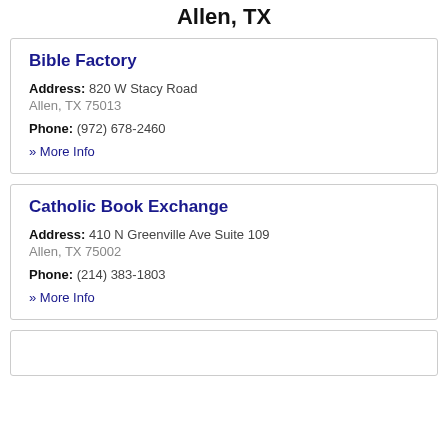Allen, TX
Bible Factory
Address: 820 W Stacy Road
Allen, TX 75013
Phone: (972) 678-2460
» More Info
Catholic Book Exchange
Address: 410 N Greenville Ave Suite 109
Allen, TX 75002
Phone: (214) 383-1803
» More Info